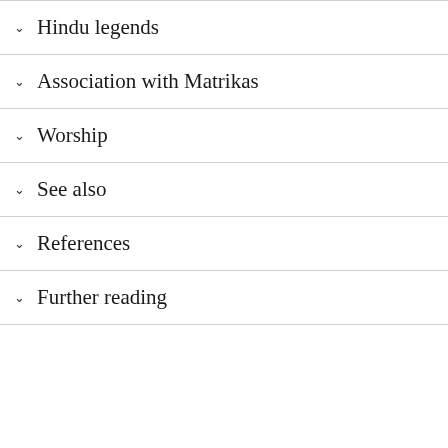Hindu legends
Association with Matrikas
Worship
See also
References
Further reading